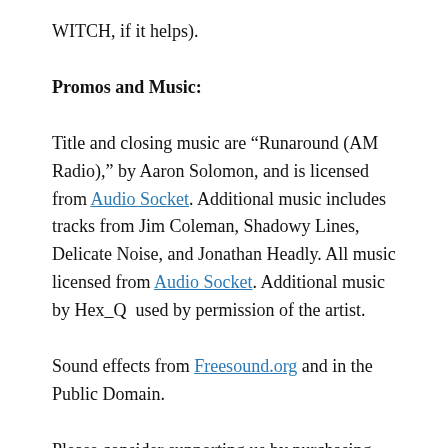WITCH, if it helps).
Promos and Music:
Title and closing music are “Runaround (AM Radio),” by Aaron Solomon, and is licensed from Audio Socket. Additional music includes tracks from Jim Coleman, Shadowy Lines, Delicate Noise, and Jonathan Headly. All music licensed from Audio Socket. Additional music by Hex_Q used by permission of the artist.
Sound effects from Freesound.org and in the Public Domain.
Please consider supporting us by purchasing